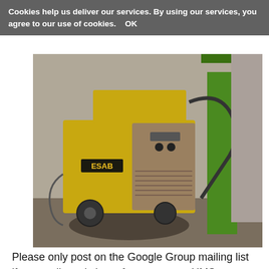Cookies help us deliver our services. By using our services, you agree to our use of cookies.   OK
[Figure (photo): A yellow ESAB welding machine on wheels, sitting on a dirty concrete floor in a workshop. Behind it is a green stand/cart. Various cables and hoses are visible.]
Please only post on the Google Group mailing list if you really, truly have forgotten your HMS password and need